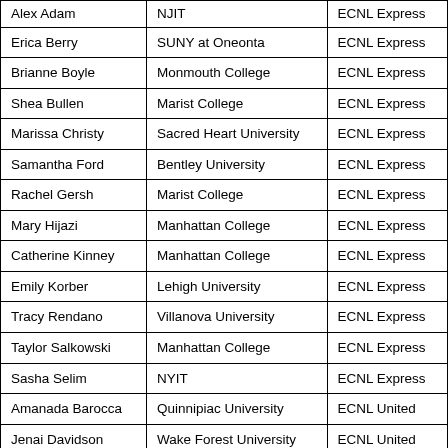| Alex Adam | NJIT | ECNL Express |
| Erica Berry | SUNY at Oneonta | ECNL Express |
| Brianne Boyle | Monmouth College | ECNL Express |
| Shea Bullen | Marist College | ECNL Express |
| Marissa Christy | Sacred Heart University | ECNL Express |
| Samantha Ford | Bentley University | ECNL Express |
| Rachel Gersh | Marist College | ECNL Express |
| Mary Hijazi | Manhattan College | ECNL Express |
| Catherine Kinney | Manhattan College | ECNL Express |
| Emily Korber | Lehigh University | ECNL Express |
| Tracy Rendano | Villanova University | ECNL Express |
| Taylor Salkowski | Manhattan College | ECNL Express |
| Sasha Selim | NYIT | ECNL Express |
| Amanada Barocca | Quinnipiac University | ECNL United |
| Jenai Davidson | Wake Forest University | ECNL United |
| Amanda Cantos | Iona College | ECNL United |